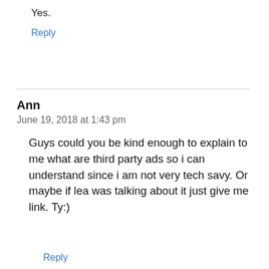Yes.
Reply
Ann
June 19, 2018 at 1:43 pm
Guys could you be kind enough to explain to me what are third party ads so i can understand since i am not very tech savy. Or maybe if lea was talking about it just give me link. Ty:)
Reply